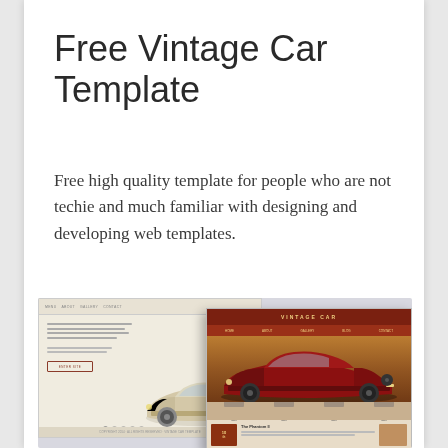Free Vintage Car Template
Free high quality template for people who are not techie and much familiar with designing and developing web templates.
[Figure (screenshot): Two overlapping screenshots of a vintage car website template: left shows a beige-toned landing page with a classic car and 'Enter Site' button; right shows a burgundy-themed vintage car template with a red classic car and navigation.]